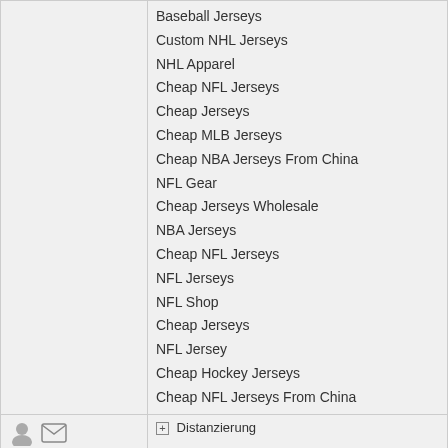Baseball Jerseys
Custom NHL Jerseys
NHL Apparel
Cheap NFL Jerseys
Cheap Jerseys
Cheap MLB Jerseys
Cheap NBA Jerseys From China
NFL Gear
Cheap Jerseys Wholesale
NBA Jerseys
Cheap NFL Jerseys
NFL Jerseys
NFL Shop
Cheap Jerseys
NFL Jersey
Cheap Hockey Jerseys
Cheap NFL Jerseys From China
[Figure (other): User icons (person and envelope) and Distanzierung link]
| Author | Nachricht |
| --- | --- |
| selinofell197 / Next Level bei 150 Posts / Beiträge: 137 | 07. Juli 2022 - 06:16 Uhr
Air Jordan 12
Pandora Ring
Adidas NMD
Jordan 11 Red
Moncler Outlet
Moncler Outlet
Air Jordan 4 Retro |